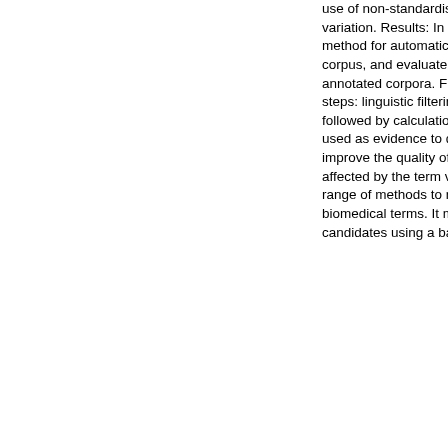use of non-standardised terminology and high degree of term variation. Results: In this paper, we describe FlexiTerm, a method for automatic term recognition from a domain-specific corpus, and evaluate its performance against five manually annotated corpora. FlexiTerm performs term recognition in two steps: linguistic filtering is used to select term candidates followed by calculation of termhood, a frequency-based measure used as evidence to qualify a candidate as a term. In order to improve the quality of termhood calculation, which may be affected by the term variation phenomena, FlexiTerm uses a range of methods to neutralise the main sources of variation in biomedical terms. It manages syntactic variation by processing candidates using a bag of